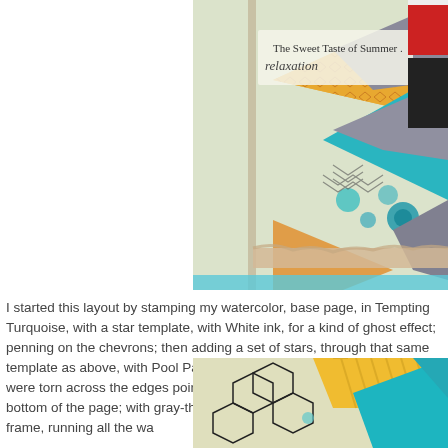[Figure (photo): Scrapbook layout showing a watercolor base page with colorful patterned paper triangles (teal, yellow, gray, orange), chevron stamping, handwritten text 'The Sweet Taste of Summer relaxation', torn paper edges, and photos partially visible at top right.]
I started this layout by stamping my watercolor, base page, in Tempting Turquoise, with a star template, with White ink, for a kind of ghost effect; penning on the chevrons; then adding a set of stars, through that same template as above, with Pool Party powder. I added burlap strips, which were torn across the edges pointing into the design, to both the top and bottom of the page; with gray-threaded, straight, machine stitches, in a frame, running all the wa
[Figure (photo): Close-up of scrapbook layout detail showing chevron/hexagon stamping patterns in black on light background, with teal and yellow patterned paper triangles.]